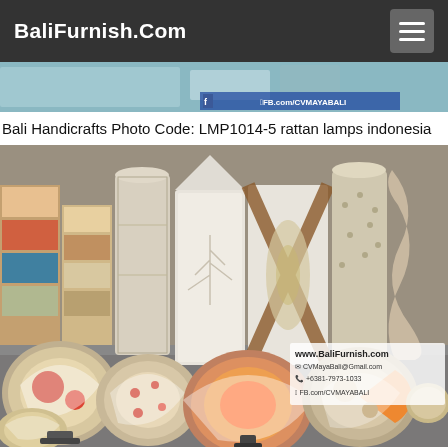BaliFurnish.Com
[Figure (photo): Partial view of a photo showing decorative handicrafts, with a Facebook page watermark reading FB.com/CVMAYABALI]
Bali Handicrafts Photo Code: LMP1014-5 rattan lamps indonesia
[Figure (photo): Large photo showing a collection of Bali rattan lamp shades in various shapes — cylindrical, round, flat disc-shaped — decorated with white, orange, red, brown and beige patterns. Watermark shows www.BaliFurnish.com, CVMayaBali@Gmail.com, +6281-7973-1033, FB.com/CVMAYABALI]